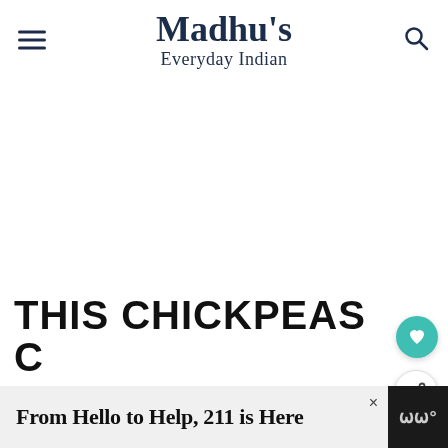Madhu's Everyday Indian
[Figure (screenshot): White blank main content area of a food blog webpage]
[Figure (illustration): Teal heart favorite button icon]
[Figure (illustration): Share button icon (white circle with share symbol)]
[Figure (screenshot): What's Next card showing Instant Pot Indian Curry... with a food thumbnail image]
THIS CHICKPEAS
From Hello to Help, 211 is Here